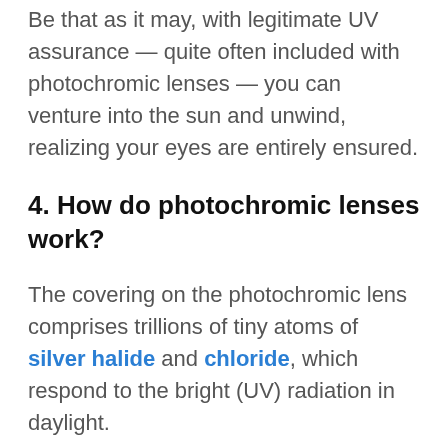Be that as it may, with legitimate UV assurance — quite often included with photochromic lenses — you can venture into the sun and unwind, realizing your eyes are entirely ensured.
4. How do photochromic lenses work?
The covering on the photochromic lens comprises trillions of tiny atoms of silver halide and chloride, which respond to the bright (UV) radiation in daylight.